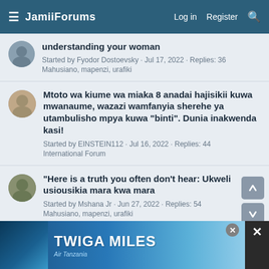JamiiForums | Log in | Register
understanding your woman
Started by Fyodor Dostoevsky · Jul 17, 2022 · Replies: 36
Mahusiano, mapenzi, urafiki
Mtoto wa kiume wa miaka 8 anadai hajisikii kuwa mwanaume, wazazi wamfanyia sherehe ya utambulisho mpya kuwa "binti". Dunia inakwenda kasi!
Started by EINSTEIN112 · Jul 16, 2022 · Replies: 44
International Forum
"Here is a truth you often don't hear: Ukweli usiousikia mara kwa mara
Started by Mshana Jr · Jun 27, 2022 · Replies: 54
Mahusiano, mapenzi, urafiki
[Figure (infographic): TWIGA MILES advertisement banner with Air Tanzania logo]